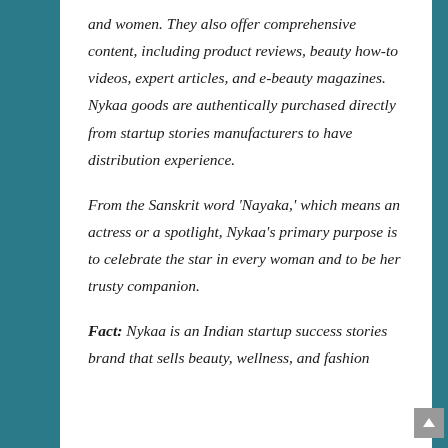and women. They also offer comprehensive content, including product reviews, beauty how-to videos, expert articles, and e-beauty magazines. Nykaa goods are authentically purchased directly from startup stories manufacturers to have distribution experience.
From the Sanskrit word 'Nayaka,' which means an actress or a spotlight, Nykaa's primary purpose is to celebrate the star in every woman and to be her trusty companion.
Fact: Nykaa is an Indian startup success stories brand that sells beauty, wellness, and fashion